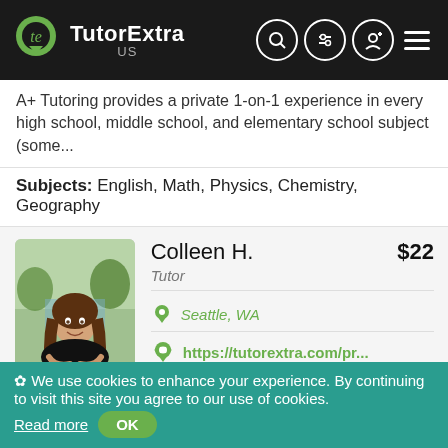[Figure (logo): TutorExtra US logo with green icon on black header background]
A+ Tutoring provides a private 1-on-1 experience in every high school, middle school, and elementary school subject (some...
Subjects: English, Math, Physics, Chemistry, Geography
[Figure (photo): Profile photo of Colleen H., a young woman with long brown hair, smiling outdoors]
Colleen H.
Tutor
Seattle, WA
https://tutorextra.com/pr...
$22
Send Message
Hi, I'm Colleen!  I recently graduated cum laude from Princeton with a BA in Sociology. I'm open to traditional tutoring for...
✿ We use cookies to enhance your experience. By continuing to visit this site you agree to our use of cookies.  Read more  OK